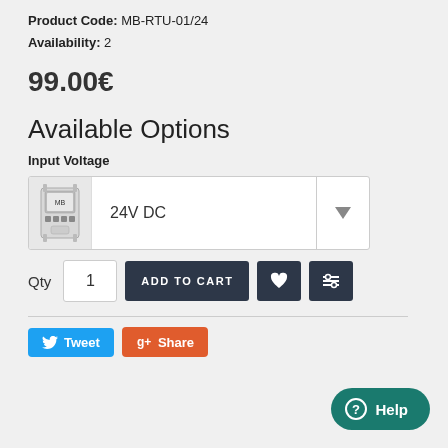Product Code: MB-RTU-01/24
Availability: 2
99.00€
Available Options
Input Voltage
[Figure (screenshot): Dropdown selector showing '24V DC' with device image thumbnail on the left and a dropdown arrow on the right]
Qty  1  ADD TO CART
Tweet  Share  Help